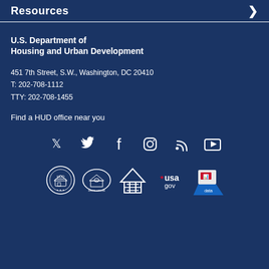Resources
U.S. Department of Housing and Urban Development
451 7th Street, S.W., Washington, DC 20410
T: 202-708-1112
TTY: 202-708-1455
Find a HUD office near you
[Figure (infographic): Social media icons: Twitter, Facebook, Instagram, RSS feed, YouTube]
[Figure (logo): Five logos: HUD seal, White House seal, Equal Housing logo, USA.gov logo, Data.gov logo]